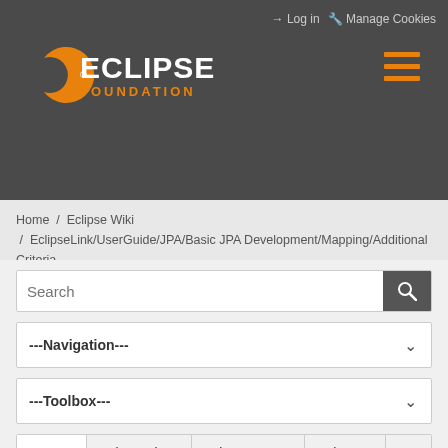Log in  Manage Cookies
[Figure (logo): Eclipse Foundation logo with orange crescent and white ECLIPSE text, orange FOUNDATION text below]
Home / Eclipse Wiki / EclipseLink/UserGuide/JPA/Basic JPA Development/Mapping/Additional Criteria
Search
---Navigation---
---Toolbox---
Page  Discussion  View source  History
< EclipseLink | UserGuide | JPA | Basic JPA Development | Mapping